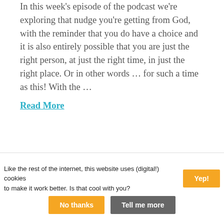In this week's episode of the podcast we're exploring that nudge you're getting from God, with the reminder that you do have a choice and it is also entirely possible that you are just the right person, at just the right time, in just the right place. Or in other words … for such a time as this! With the …
Read More
Like the rest of the internet, this website uses (digital!) cookies to make it work better. Is that cool with you?
Yep!
No thanks
Tell me more